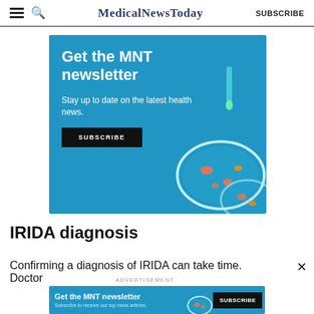MedicalNewsToday  SUBSCRIBE
[Figure (illustration): Advertisement banner with blue background showing 'Get the MNT newsletter' headline, 'Stay up to date on the latest health news.' subtext, a SUBSCRIBE button, and an illustration of a petri dish with orange specimens and a dropper.]
IRIDA diagnosis
Confirming a diagnosis of IRIDA can take time. Doctor
ADVERTISEMENT
[Figure (illustration): Bottom sticky advertisement banner with blue background showing 'Get the MNT newsletter' and 'Subscribe to receive our top news articles.' with a SUBSCRIBE button and partial petri dish illustration.]